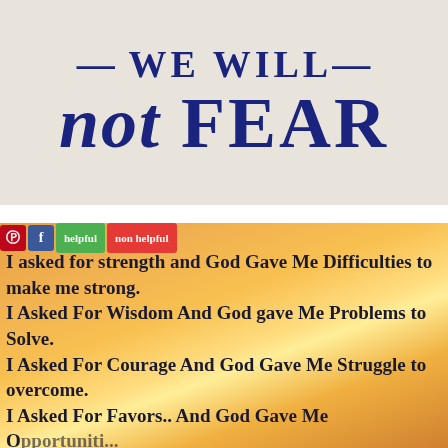[Figure (illustration): Motivational text image on beige/cream background with bold dark navy blue text reading '— WE WILL— not FEAR' where 'not' is italic and 'FEAR' is bold serif]
[Figure (illustration): Inspirational quote on sunset gradient background with social sharing buttons (Pinterest, Facebook, helpful/non helpful). Text reads: 'I asked for strength and God Gave Me Difficulties to make me strong. I Asked For Wisdom And God gave Me Problems to Solve. I Asked For Courage And God Gave Me Struggle to overcome. I Asked For Favors.. And God Gave Me Opportunities.']